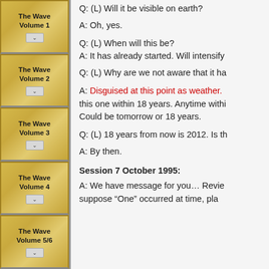The Wave Volume 1
The Wave Volume 2
The Wave Volume 3
The Wave Volume 4
The Wave Volume 5/6
Q: (L) Will it be visible on earth?
A: Oh, yes.
Q: (L) When will this be?
A: It has already started. Will intensify
Q: (L) Why are we not aware that it ha
A: Disguised at this point as weather. this one within 18 years. Anytime withi Could be tomorrow or 18 years.
Q: (L) 18 years from now is 2012. Is th
A: By then.
Session 7 October 1995:
A: We have message for you… Revie suppose “One” occurred at time, pla